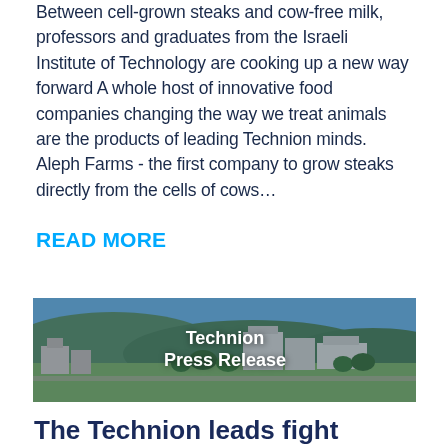Between cell-grown steaks and cow-free milk, professors and graduates from the Israeli Institute of Technology are cooking up a new way forward A whole host of innovative food companies changing the way we treat animals are the products of leading Technion minds. Aleph Farms - the first company to grow steaks directly from the cells of cows...
READ MORE
[Figure (photo): Aerial/elevated view of Technion - Israel Institute of Technology campus with buildings, green trees, and blue sky, with white bold text overlay reading 'Technion Press Release']
The Technion leads fight